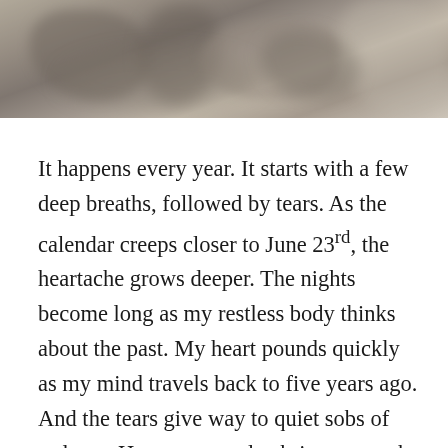[Figure (photo): A close-up sepia/muted-tone photograph of hands and objects, blurred background, taken from above.]
It happens every year. It starts with a few deep breaths, followed by tears. As the calendar creeps closer to June 23rd, the heartache grows deeper. The nights become long as my restless body thinks about the past. My heart pounds quickly as my mind travels back to five years ago. And the tears give way to quiet sobs of sadness. How can one day bring so much happiness, yet so much pain? As a grieving parent, I cherish every single memory of my children, even the heartbreaking moments.